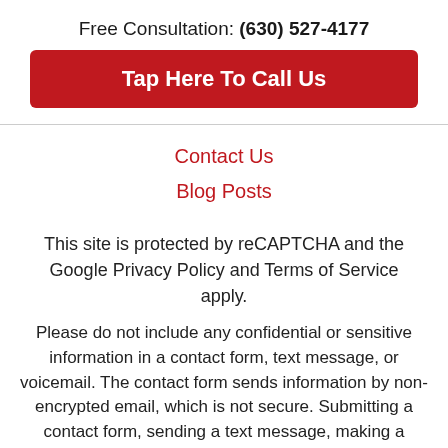Free Consultation: (630) 527-4177
Tap Here To Call Us
Contact Us
Blog Posts
This site is protected by reCAPTCHA and the Google Privacy Policy and Terms of Service apply.
Please do not include any confidential or sensitive information in a contact form, text message, or voicemail. The contact form sends information by non-encrypted email, which is not secure. Submitting a contact form, sending a text message, making a phone call, or leaving a voicemail does not